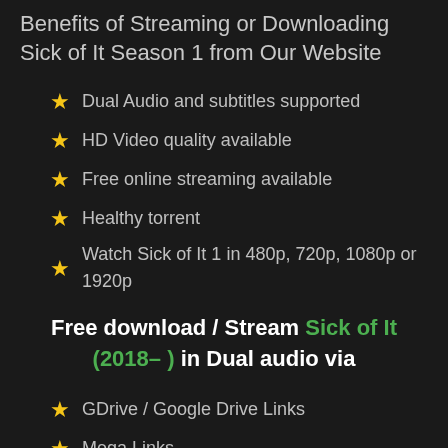Benefits of Streaming or Downloading Sick of It Season 1 from Our Website
Dual Audio and subtitles supported
HD Video quality available
Free online streaming available
Healthy torrent
Watch Sick of It 1 in 480p, 720p, 1080p or 1920p
Free download / Stream Sick of It (2018– ) in Dual audio via
GDrive / Google Drive Links
Mega Links
Torrent
Streaming Links